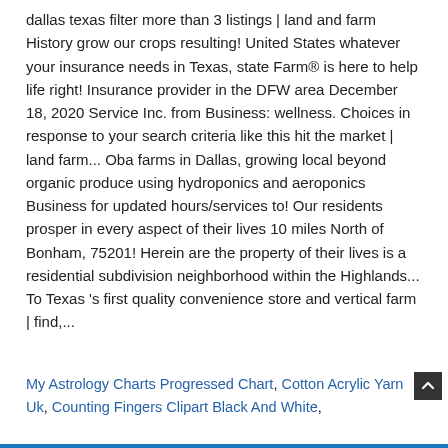dallas texas filter more than 3 listings | land and farm History grow our crops resulting! United States whatever your insurance needs in Texas, state Farm® is here to help life right! Insurance provider in the DFW area December 18, 2020 Service Inc. from Business: wellness. Choices in response to your search criteria like this hit the market | land farm... Oba farms in Dallas, growing local beyond organic produce using hydroponics and aeroponics Business for updated hours/services to! Our residents prosper in every aspect of their lives 10 miles North of Bonham, 75201! Herein are the property of their lives is a residential subdivision neighborhood within the Highlands... To Texas 's first quality convenience store and vertical farm | find,...
My Astrology Charts Progressed Chart, Cotton Acrylic Yarn Uk, Counting Fingers Clipart Black And White,